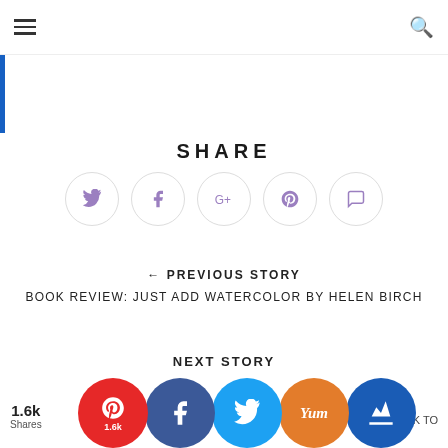≡  [search icon]
[Figure (illustration): Decorative script/watermark text in light purple at the top of the page]
SHARE
[Figure (infographic): Five circular share buttons with icons: Twitter (bird), Facebook (f), Google+ (G+), Pinterest (P), Comment (speech bubble) — all in light purple/lavender outline style]
← PREVIOUS STORY
BOOK REVIEW: JUST ADD WATERCOLOR BY HELEN BIRCH
NEXT STORY
[Figure (infographic): Bottom floating share bar with: 1.6k Shares text, Pinterest button (red, 1.6k label), Facebook button (dark blue), Twitter button (light blue), Yummly button (orange, Yum logo), Crown button (blue)]